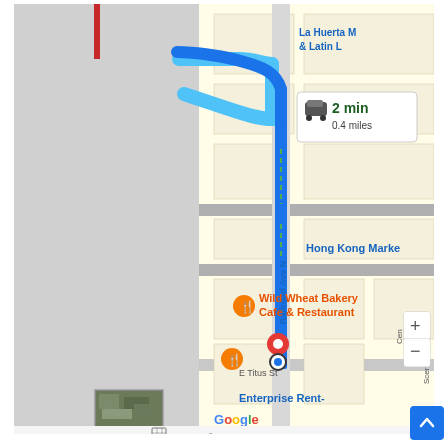[Figure (map): Google Maps screenshot showing a driving route along Railroad Ave N. The route is highlighted in blue, showing a path from the top turning left then going south. A popup shows '2 min, 0.4 miles'. Landmarks visible include 'La Huerta M & Latin L' (top right), 'Hong Kong Marke' (middle right), 'Wild Wheat Bakery Cafe & Restaurant' (orange label with fork/knife icon, middle right), 'Enterprise Rent-' (bottom). Street labels: Railroad Ave N (vertical, blue route), E Titus St, Scenic W (right edge), Cen (right side). Map controls: zoom in (+) and zoom out (-) buttons on right side. A satellite thumbnail is shown bottom left. Red destination pin and current location circle visible near bottom of route. Google logo and 'Map data ©2022 Google' and 'Terms of Use' visible at bottom.]